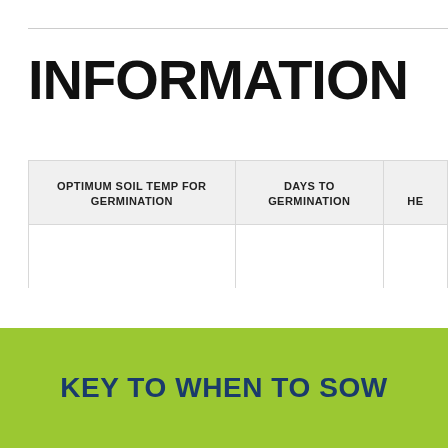INFORMATION
| OPTIMUM SOIL TEMP FOR GERMINATION | DAYS TO GERMINATION | HE |
| --- | --- | --- |
| 18-21 | 7-14 | 30 |
KEY TO WHEN TO SOW